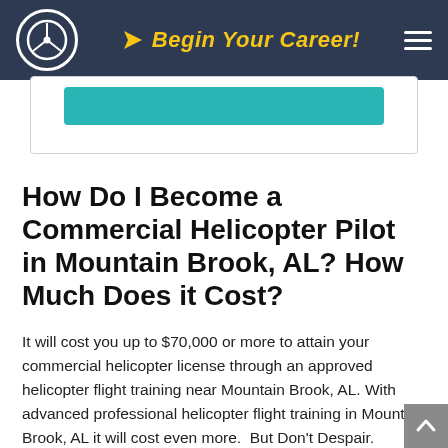Begin Your Career!
[Figure (other): Teal button/bar inside a white card area below the navigation header]
How Do I Become a Commercial Helicopter Pilot in Mountain Brook, AL? How Much Does it Cost?
It will cost you up to $70,000 or more to attain your commercial helicopter license through an approved helicopter flight training near Mountain Brook, AL. With advanced professional helicopter flight training in Mountain Brook, AL it will cost even more.  But Don't Despair.